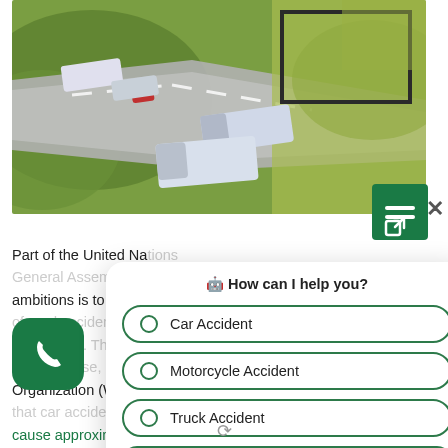[Figure (photo): Aerial view of a highway with trucks and cars driving at speed, surrounded by green fields. A rectangular outlined field is visible in the upper right.]
Part of the United Nations General Assembly's ambitions is to halve the number of road accident deaths by 2030. The attention to this makes sense, as the World Health Organization (WHO) indicated that car accidents cause approximately 1.35 million deaths each year across the globe.
[Figure (screenshot): Chatbot widget overlay with header 'How can I help you?' and three radio button options: Car Accident, Motorcycle Accident, Truck Accident, and a partially visible fourth option.]